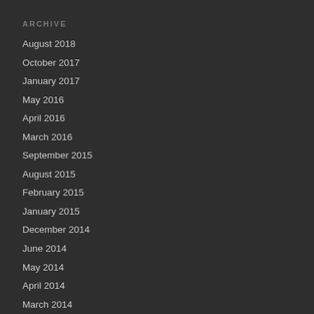ARCHIVE
August 2018
October 2017
January 2017
May 2016
April 2016
March 2016
September 2015
August 2015
February 2015
January 2015
December 2014
June 2014
May 2014
April 2014
March 2014